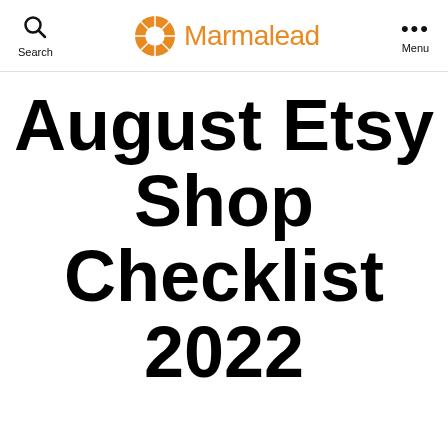Search  Marmalead  Menu
August Etsy Shop Checklist 2022